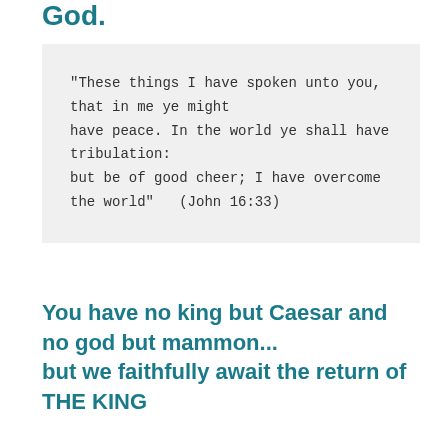God.
"These things I have spoken unto you, that in me ye might have peace. In the world ye shall have tribulation: but be of good cheer; I have overcome the world"   (John 16:33)
You have no king but Caesar and no god but mammon... but we faithfully await the return of THE KING